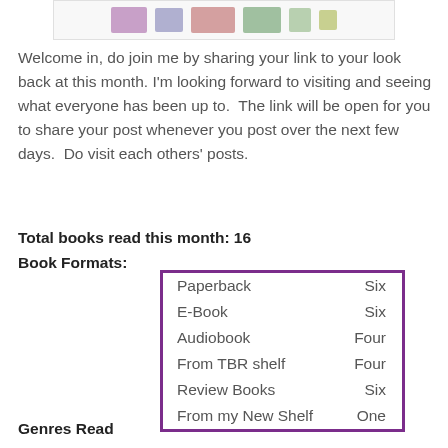[Figure (illustration): Decorative header image strip with book-related icons and illustrations on a white/light background]
Welcome in, do join me by sharing your link to your look back at this month. I'm looking forward to visiting and seeing what everyone has been up to.  The link will be open for you to share your post whenever you post over the next few days.  Do visit each others' posts.
Total books read this month: 16
Book Formats:
| Format | Count |
| --- | --- |
| Paperback | Six |
| E-Book | Six |
| Audiobook | Four |
| From TBR shelf | Four |
| Review Books | Six |
| From my New Shelf | One |
Genres Read